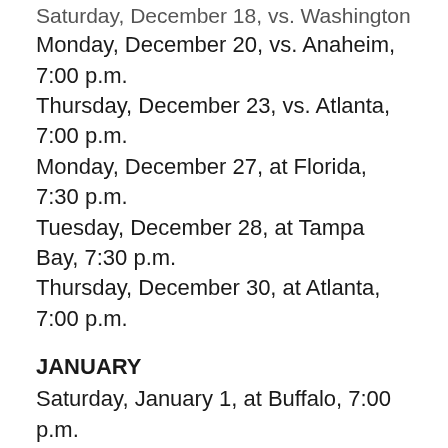Saturday, December 18, vs. Washington, 7:00 p.m.
Monday, December 20, vs. Anaheim, 7:00 p.m.
Thursday, December 23, vs. Atlanta, 7:00 p.m.
Monday, December 27, at Florida, 7:30 p.m.
Tuesday, December 28, at Tampa Bay, 7:30 p.m.
Thursday, December 30, at Atlanta, 7:00 p.m.
JANUARY
Saturday, January 1, at Buffalo, 7:00 p.m.
Monday, January 3, at Toronto, 7:00 p.m.
Thursday, January 6, vs. Minnesota, 7:00 p.m.
Saturday, January 8, at Montreal, 7:00 p.m.
Monday, January 10, at Pittsburgh, 7:00 p.m.
Tuesday, January 11, vs. Ottawa, 7:00 p.m.
Thursday, January 13, vs. Philadelphia, 7:00 p.m.
Saturday, January 15, vs. Pittsburgh, 1:00 p.m.
Monday, January 17, vs. Carolina, 1:00 p.m.